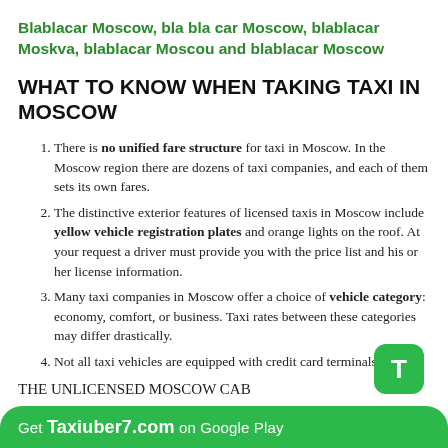Blablacar Moscow, bla bla car Moscow, blablacar Moskva, blablacar Moscou and blablacar Moscow
WHAT TO KNOW WHEN TAKING TAXI IN MOSCOW
There is no unified fare structure for taxi in Moscow. In the Moscow region there are dozens of taxi companies, and each of them sets its own fares.
The distinctive exterior features of licensed taxis in Moscow include yellow vehicle registration plates and orange lights on the roof. At your request a driver must provide you with the price list and his or her license information.
Many taxi companies in Moscow offer a choice of vehicle category: economy, comfort, or business. Taxi rates between these categories may differ drastically.
Not all taxi vehicles are equipped with credit card terminals.
THE UNLICENSED MOSCOW CAB
In Moscow, in addition to legal taxis, there are thousands of
Get Taxiuber7.com on Google Play